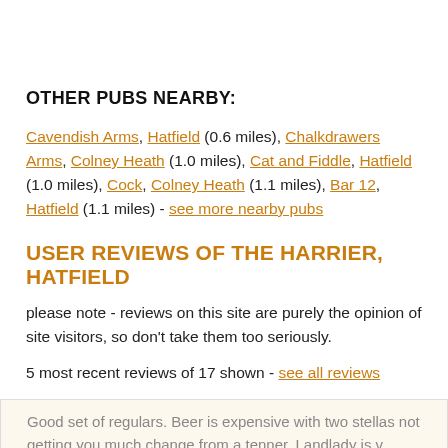OTHER PUBS NEARBY:
Cavendish Arms, Hatfield (0.6 miles), Chalkdrawers Arms, Colney Heath (1.0 miles), Cat and Fiddle, Hatfield (1.0 miles), Cock, Colney Heath (1.1 miles), Bar 12, Hatfield (1.1 miles) - see more nearby pubs
USER REVIEWS OF THE HARRIER, HATFIELD
please note - reviews on this site are purely the opinion of site visitors, so don't take them too seriously.
5 most recent reviews of 17 shown - see all reviews
Good set of regulars. Beer is expensive with two stellas not getting you much change from a tenner. Landlady is v